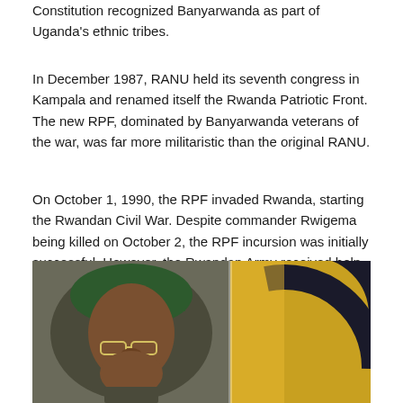Constitution recognized Banyarwanda as part of Uganda's ethnic tribes.
In December 1987, RANU held its seventh congress in Kampala and renamed itself the Rwanda Patriotic Front. The new RPF, dominated by Banyarwanda veterans of the war, was far more militaristic than the original RANU.
On October 1, 1990, the RPF invaded Rwanda, starting the Rwandan Civil War. Despite commander Rwigema being killed on October 2, the RPF incursion was initially successful. However, the Rwandan Army received help from Belgium, France and Zaire and within a month had regained the initiative, forcing the RPF back into Uganda.
[Figure (photo): A man wearing a green military beret and glasses, photographed in front of what appears to be a flag with yellow and dark colors featuring a circular emblem.]